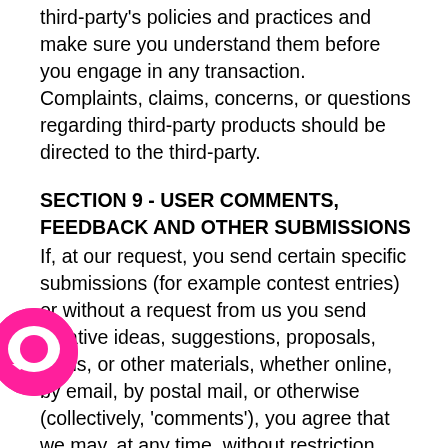third-party's policies and practices and make sure you understand them before you engage in any transaction. Complaints, claims, concerns, or questions regarding third-party products should be directed to the third-party.
SECTION 9 - USER COMMENTS, FEEDBACK AND OTHER SUBMISSIONS
If, at our request, you send certain specific submissions (for example contest entries) or without a request from us you send creative ideas, suggestions, proposals, plans, or other materials, whether online, by email, by postal mail, or otherwise (collectively, 'comments'), you agree that we may, at any time, without restriction, edit, copy, publish, distribute, translate and otherwise use in any medium any comments that you forward to us. We are and shall be under no obligation (1) to maintain any comments in confidence; (2) to pay compensation for
[Figure (logo): Pink/magenta circular chat bubble icon]